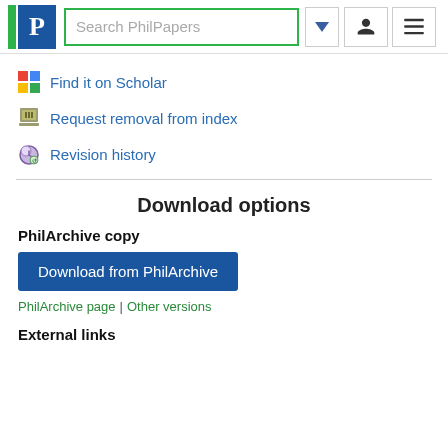[Figure (logo): PhilPapers logo with green vertical bar and blue P block, plus search box, dropdown arrow button, user icon button, and hamburger menu button]
Find it on Scholar
Request removal from index
Revision history
Download options
PhilArchive copy
Download from PhilArchive
PhilArchive page | Other versions
External links